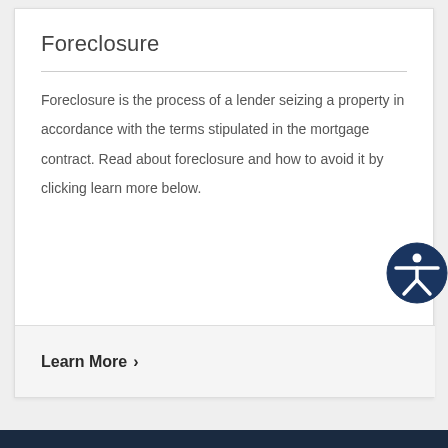Foreclosure
Foreclosure is the process of a lender seizing a property in accordance with the terms stipulated in the mortgage contract. Read about foreclosure and how to avoid it by clicking learn more below.
Learn More >